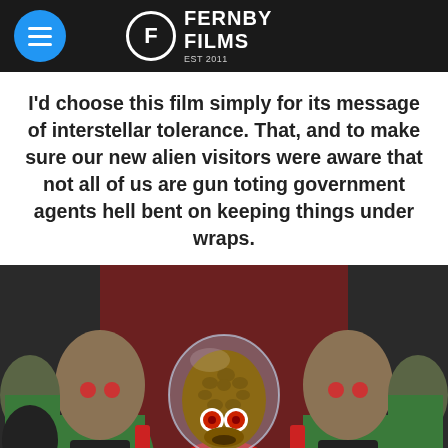Fernby Films
I'd choose this film simply for its message of interstellar tolerance. That, and to make sure our new alien visitors were aware that not all of us are gun toting government agents hell bent on keeping things under wraps.
[Figure (photo): A scene from Mars Attacks! showing multiple Martian aliens in green suits with large bulbous heads and a central alien wearing a red and gold ornate outfit with a transparent dome helmet.]